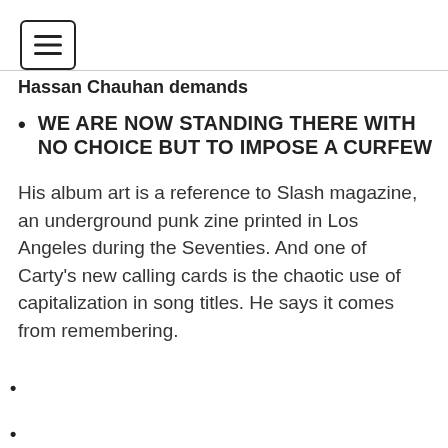[Figure (other): Hamburger menu icon button with three horizontal lines inside a rounded rectangle border]
Hassan Chauhan demands
WE ARE NOW STANDING THERE WITH NO CHOICE BUT TO IMPOSE A CURFEW
His album art is a reference to Slash magazine, an underground punk zine printed in Los Angeles during the Seventies. And one of Carty’s new calling cards is the chaotic use of capitalization in song titles. He says it comes from remembering.